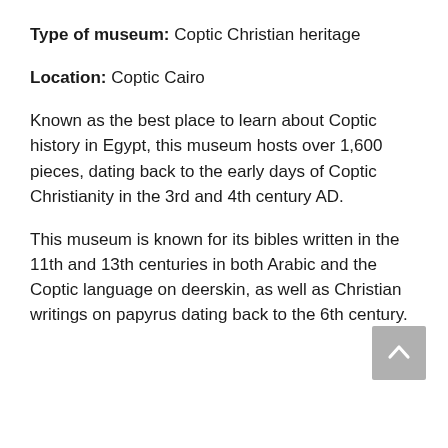Type of museum: Coptic Christian heritage
Location: Coptic Cairo
Known as the best place to learn about Coptic history in Egypt, this museum hosts over 1,600 pieces, dating back to the early days of Coptic Christianity in the 3rd and 4th century AD.
This museum is known for its bibles written in the 11th and 13th centuries in both Arabic and the Coptic language on deerskin, as well as Christian writings on papyrus dating back to the 6th century.